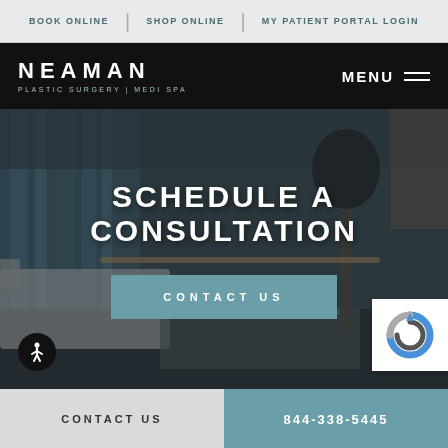BOOK ONLINE | SHOP ONLINE | MY PATIENT PORTAL LOGIN
[Figure (logo): Neaman Plastic Surgery | Medi Spa logo on black bar with MENU button]
[Figure (photo): Interior of medical spa waiting room with white sofas, lamp, and decorative elements, overlaid with dark tint]
SCHEDULE A CONSULTATION
CONTACT US
CONTACT US | 844-338-5445